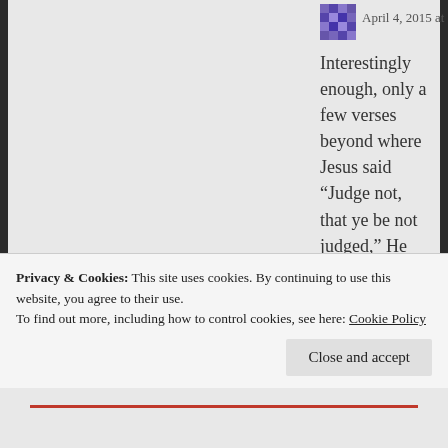April 4, 2015 at 10:59 pm
Interestingly enough, only a few verses beyond where Jesus said “Judge not, that ye be not judged,” He *also* said “You can know a tree by its fruit” and again, “By their fruit you shall know them.”
To my understanding, it’s never our prerogative to assess a person’s character or predict their eternity. That’s God’s job. But we *do* need to be aware of behaviors or situations that are out of harmony with the
Privacy & Cookies: This site uses cookies. By continuing to use this website, you agree to their use.
To find out more, including how to control cookies, see here: Cookie Policy